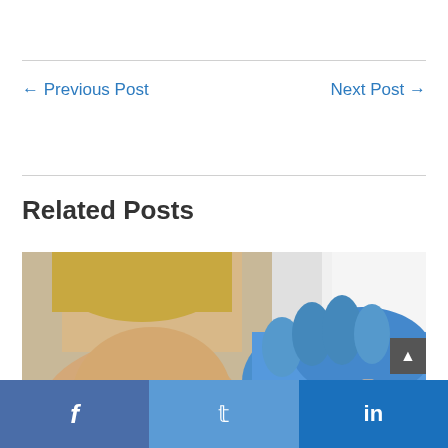← Previous Post
Next Post →
Related Posts
[Figure (photo): Medical professional in blue gloves administering an injection into a patient's upper arm. Patient is wearing a grey sleeveless top and has blonde hair. Doctor is wearing a white coat.]